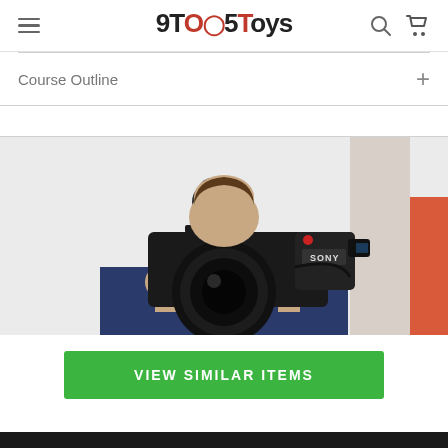9TO5Toys
Course Outline +
[Figure (photo): Person holding a Sony professional video camera/camcorder pointed toward the viewer, with a microphone mounted on top. The subject is partially obscured behind the camera. Background is light gray.]
VIEW SIMILAR ITEMS